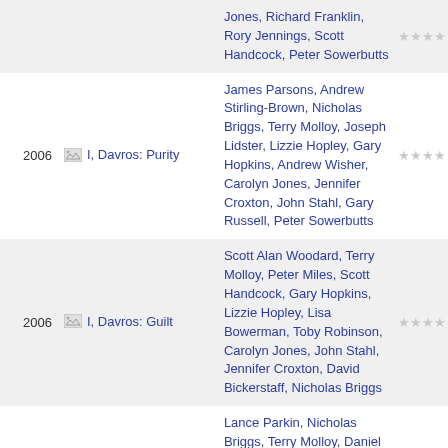| Year | Title | Cast | Rating |
| --- | --- | --- | --- |
|  |  | Jones, Richard Franklin, Rory Jennings, Scott Handcock, Peter Sowerbutts | ★★★★ |
| 2006 | I, Davros: Purity | James Parsons, Andrew Stirling-Brown, Nicholas Briggs, Terry Molloy, Joseph Lidster, Lizzie Hopley, Gary Hopkins, Andrew Wisher, Carolyn Jones, Jennifer Croxton, John Stahl, Gary Russell, Peter Sowerbutts | ★★★★ |
| 2006 | I, Davros: Guilt | Scott Alan Woodard, Terry Molloy, Peter Miles, Scott Handcock, Gary Hopkins, Lizzie Hopley, Lisa Bowerman, Toby Robinson, Carolyn Jones, John Stahl, Jennifer Croxton, David Bickerstaff, Nicholas Briggs | ★★★★ |
|  |  | Lance Parkin, Nicholas Briggs, Terry Molloy, Daniel |  |